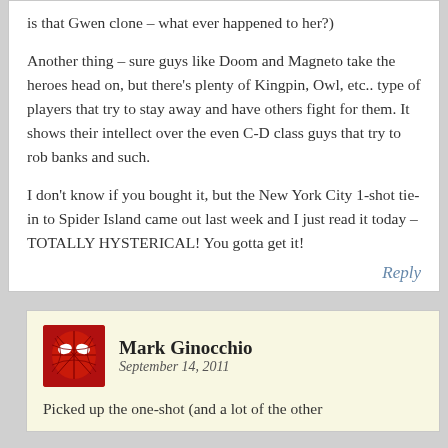is that Gwen clone – what ever happened to her?)
Another thing – sure guys like Doom and Magneto take the heroes head on, but there's plenty of Kingpin, Owl, etc.. type of players that try to stay away and have others fight for them. It shows their intellect over the even C-D class guys that try to rob banks and such.
I don't know if you bought it, but the New York City 1-shot tie-in to Spider Island came out last week and I just read it today – TOTALLY HYSTERICAL! You gotta get it!
Reply
Mark Ginocchio
September 14, 2011
Picked up the one-shot (and a lot of the other